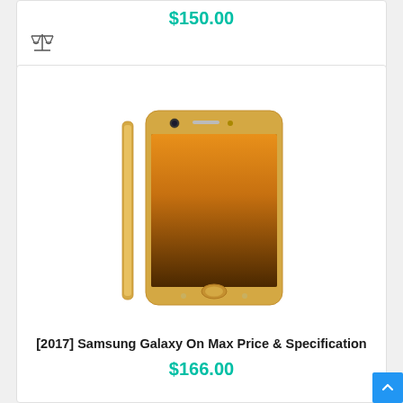$150.00
[Figure (illustration): Balance/compare icon (scales of justice icon)]
[Figure (photo): Samsung Galaxy J7 Max (2017) gold color smartphone shown from front and side view]
[2017] Samsung Galaxy On Max Price & Specification
$166.00